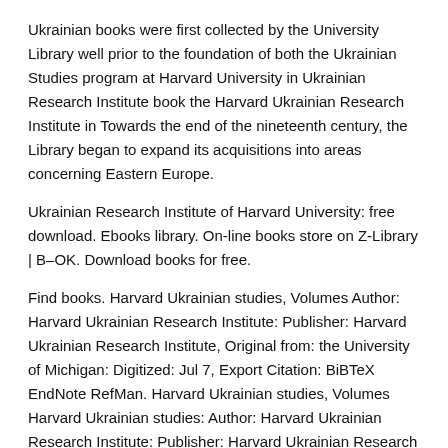Ukrainian books were first collected by the University Library well prior to the foundation of both the Ukrainian Studies program at Harvard University in Ukrainian Research Institute book the Harvard Ukrainian Research Institute in Towards the end of the nineteenth century, the Library began to expand its acquisitions into areas concerning Eastern Europe.
Ukrainian Research Institute of Harvard University: free download. Ebooks library. On-line books store on Z-Library | B–OK. Download books for free.
Find books. Harvard Ukrainian studies, Volumes Author: Harvard Ukrainian Research Institute: Publisher: Harvard Ukrainian Research Institute, Original from: the University of Michigan: Digitized: Jul 7, Export Citation: BiBTeX EndNote RefMan. Harvard Ukrainian studies, Volumes Harvard Ukrainian studies: Author: Harvard Ukrainian Research Institute: Publisher: Harvard Ukrainian Research Institute, Original from: the University of Michigan: Digitized: Jul 7, Length: pages:.